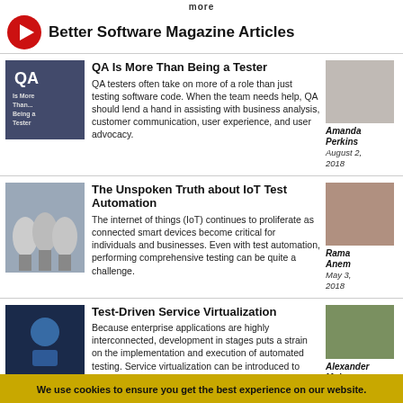more
Better Software Magazine Articles
QA Is More Than Being a Tester
QA testers often take on more of a role than just testing software code. When the team needs help, QA should lend a hand in assisting with business analysis, customer communication, user experience, and user advocacy.
Amanda Perkins
August 2, 2018
The Unspoken Truth about IoT Test Automation
The internet of things (IoT) continues to proliferate as connected smart devices become critical for individuals and businesses. Even with test automation, performing comprehensive testing can be quite a challenge.
Rama Anem
May 3, 2018
Test-Driven Service Virtualization
Because enterprise applications are highly interconnected, development in stages puts a strain on the implementation and execution of automated testing. Service virtualization can be introduced to validate work in progress while reducing the
Alexander Mohr
April 13,
We use cookies to ensure you get the best experience on our website.